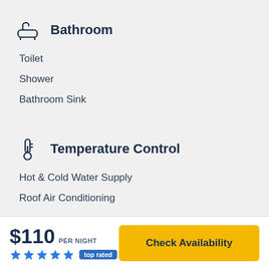Bathroom
Toilet
Shower
Bathroom Sink
Temperature Control
Hot & Cold Water Supply
Roof Air Conditioning
$110 PER NIGHT
top rated
Check Availability